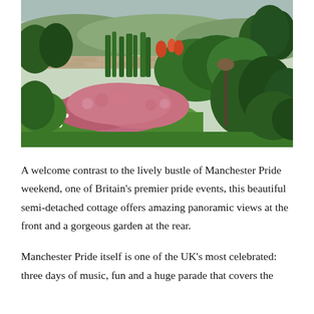[Figure (photo): A lush cottage garden photographed from ground level showing pink flowering shrubs (possibly sedum or valerian) in the foreground, tall green plants and iris-like foliage in the middle ground, a stone wall, and rolling hills in the background under an overcast sky. A bird feeder post is visible on the right side.]
A welcome contrast to the lively bustle of Manchester Pride weekend, one of Britain's premier pride events, this beautiful semi-detached cottage offers amazing panoramic views at the front and a gorgeous garden at the rear.
Manchester Pride itself is one of the UK's most celebrated: three days of music, fun and a huge parade that covers the